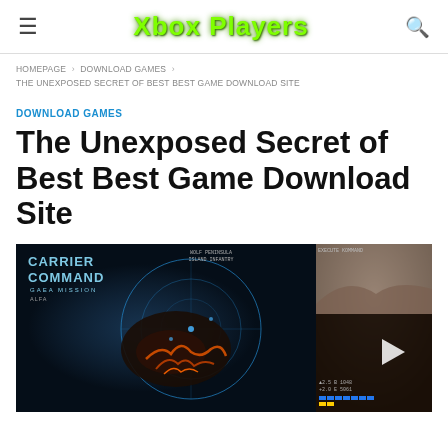Xbox Players
HOMEPAGE › DOWNLOAD GAMES › THE UNEXPOSED SECRET OF BEST BEST GAME DOWNLOAD SITE
DOWNLOAD GAMES
The Unexposed Secret of Best Best Game Download Site
[Figure (screenshot): Screenshot of Carrier Command: Gaea Mission game showing a tactical map view with glowing blue grid lines and orange lava terrain on the left, and a 3D vehicle/environment view on the right panel with a play button overlay.]